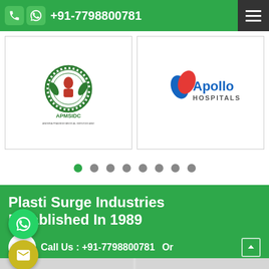+91-7798800781
[Figure (logo): APMSIDC logo - Andhra Pradesh Medical Services and Infrastructure Development Corporation circular emblem with text APMSIDC below]
[Figure (logo): Apollo Hospitals logo with blue and orange brand mark]
Plasti Surge Industries Established In 1989
Call Us : +91-7798800781   Or
Get a Quote